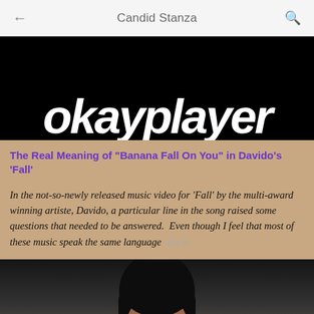Candid Stanza
[Figure (screenshot): Okayplayer website logo — white bold italic lowercase text 'okayplayer' on black background]
The Real Meaning of "Banana Fall On You" in Davido's 'Fall'
In the not-so-newly released music video for 'Fall' by the multi-award winning artiste, Davido, a particular line in the song raised some questions that needed to be answered.  Even though I feel that most of these music speak the same language which ...
[Figure (photo): Partial photo of a woman with straight black hair against a blurred indoor background, cropped at the bottom of the page]